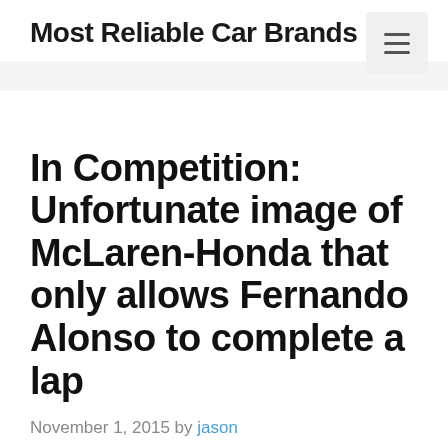Most Reliable Car Brands
In Competition: Unfortunate image of McLaren-Honda that only allows Fernando Alonso to complete a lap
November 1, 2015 by jason